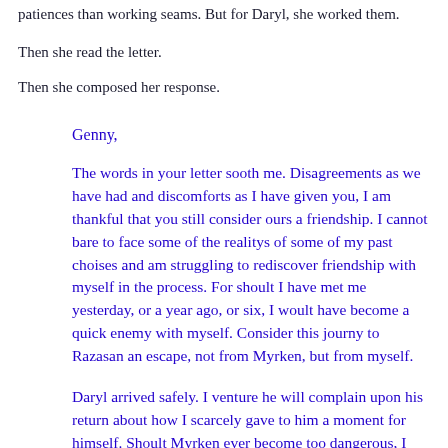patiences than working seams. But for Daryl, she worked them.
Then she read the letter.
Then she composed her response.
Genny,
The words in your letter sooth me. Disagreements as we have had and discomforts as I have given you, I am thankful that you still consider ours a friendship. I cannot bare to face some of the realitys of some of my past choises and am struggling to rediscover friendship with myself in the process. For shoult I have met me yesterday, or a year ago, or six, I woult have become a quick enemy with myself. Consider this journy to Razasan an escape, not from Myrken, but from myself.
Daryl arrived safely. I venture he will complain upon his return about how I scarcely gave to him a moment for himself. Shoult Myrken ever become too dangerous, I implore you send him my way. He will always have safe harbor with me. It was a wonder and a relief and a [strikethrough: rege reinvi] refreshment to see him. I